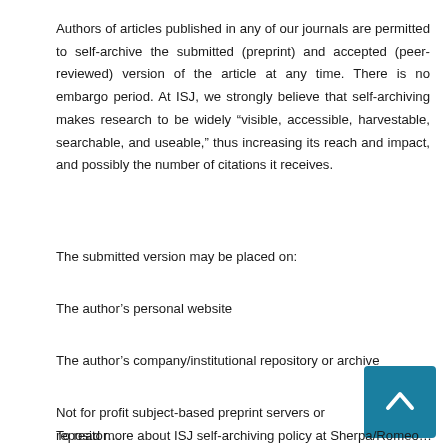Authors of articles published in any of our journals are permitted to self-archive the submitted (preprint) and accepted (peer-reviewed) version of the article at any time. There is no embargo period. At ISJ, we strongly believe that self-archiving makes research to be widely “visible, accessible, harvestable, searchable, and useable,” thus increasing its reach and impact, and possibly the number of citations it receives.
The submitted version may be placed on:
The author’s personal website
The author’s company/institutional repository or archive
Not for profit subject-based preprint servers or repositor…
To read more about ISJ self-archiving policy at Sherpa/Romeo…